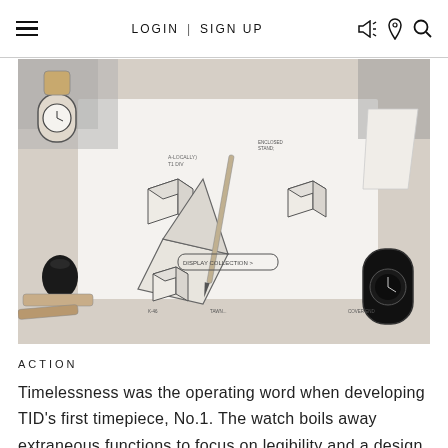LOGIN | SIGN UP
[Figure (photo): Flat lay product design sketch with wooden block models, two watches (one light, one dark), a pencil, and design annotations on white paper, viewed from above on a marble surface.]
ACTION
Timelessness was the operating word when developing TID’s first timepiece, No.1. The watch boils away extraneous functions to focus on legibility and a design the user won’t get bored with.